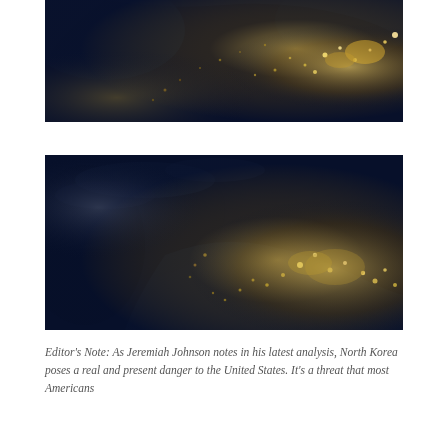[Figure (photo): Satellite night-time image of North America showing city lights from above, viewed from space. Eastern and western coasts are brightly lit. Dark blue background of ocean and space.]
[Figure (photo): Second satellite night-time image of North America showing city lights from a slightly different angle or zoom. A large dark region is visible toward the upper left, contrasting with the brightly lit eastern and western United States.]
Editor's Note: As Jeremiah Johnson notes in his latest analysis, North Korea poses a real and present danger to the United States. It's a threat that most Americans